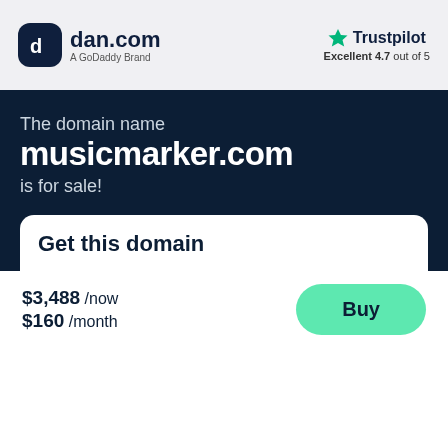[Figure (logo): dan.com logo with dark rounded square icon and text 'dan.com' with subtitle 'A GoDaddy Brand']
[Figure (logo): Trustpilot logo with green star and text 'Trustpilot', rating 'Excellent 4.7 out of 5']
The domain name
musicmarker.com
is for sale!
Get this domain
$3,488 /now
$160 /month